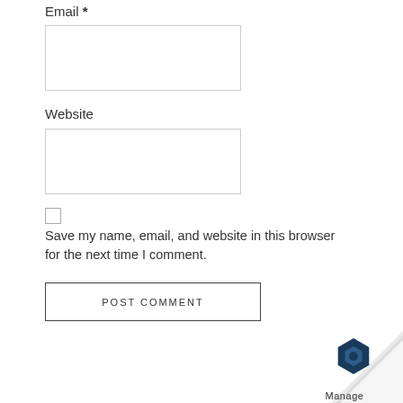Email *
[Figure (screenshot): Empty email input text box]
Website
[Figure (screenshot): Empty website input text box]
[Figure (screenshot): Unchecked checkbox]
Save my name, email, and website in this browser for the next time I comment.
[Figure (screenshot): POST COMMENT button]
[Figure (logo): Manage logo with page curl effect in bottom right corner]